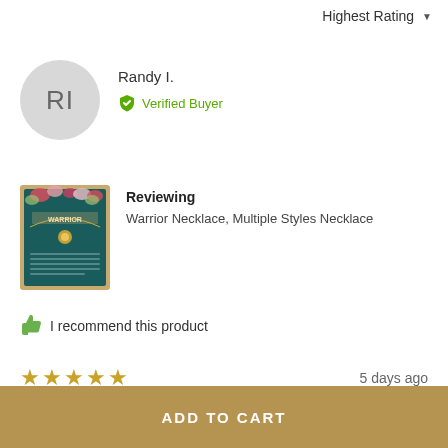Highest Rating
RI
Randy I.
Verified Buyer
[Figure (photo): Product photo of Warrior Necklace in a decorative box with floral design]
Reviewing
Warrior Necklace, Multiple Styles Necklace
I recommend this product
★★★★★ 5 days ago
ADD TO CART